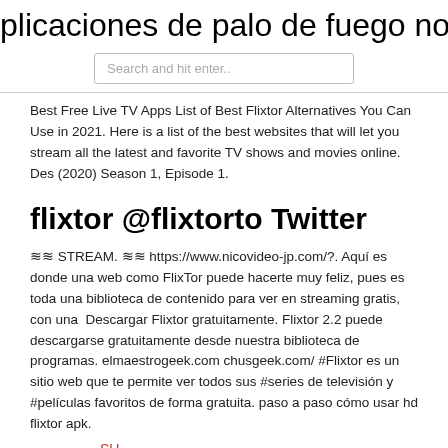plicaciones de palo de fuego no apa
Search and hit enter..
Best Free Live TV Apps List of Best Flixtor Alternatives You Can Use in 2021. Here is a list of the best websites that will let you stream all the latest and favorite TV shows and movies online. Des (2020) Season 1, Episode 1.
flixtor @flixtorto Twitter
≋≋ STREAM. ≋≋ https://www.nicovideo-jp.com/?. Aquí es donde una web como FlixTor puede hacerte muy feliz, pues es toda una biblioteca de contenido para ver en streaming gratis, con una  Descargar Flixtor gratuitamente. Flixtor 2.2 puede descargarse gratuitamente desde nuestra biblioteca de programas. elmaestrogeek.com chusgeek.com/ #Flixtor es un sitio web que te permite ver todos sus #series de televisión y #películas favoritos de forma gratuita. paso a paso cómo usar hd flixtor apk.
SU